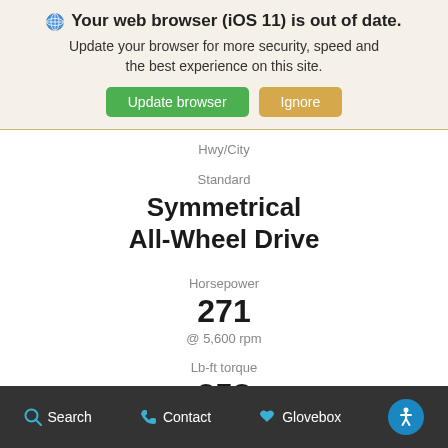🌐 Your web browser (iOS 11) is out of date. Update your browser for more security, speed and the best experience on this site. [Update browser] [Ignore]
Hwy/City
Standard
Symmetrical All-Wheel Drive
Horsepower
271
@ 5,600 rpm
Lb-ft torque
258
@ 2,000 rpm
Search  Contact  Glovebox  [Accessibility]